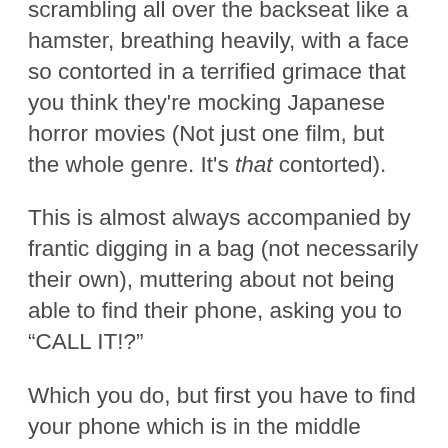scrambling all over the backseat like a hamster, breathing heavily, with a face so contorted in a terrified grimace that you think they're mocking Japanese horror movies (Not just one film, but the whole genre. It's that contorted).
This is almost always accompanied by frantic digging in a bag (not necessarily their own), muttering about not being able to find their phone, asking you to “CALL IT!?”
Which you do, but first you have to find your phone which is in the middle console, but which you can’t see until you unblink your eyes, and so you too are frantic for a second, but then you see it, and you call their phone, and you all hear it buzzing in their bag, where they put it not three minutes before.